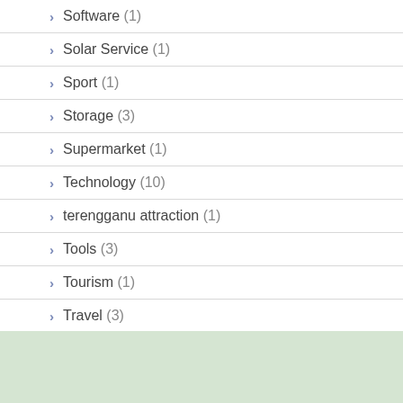Software (1)
Solar Service (1)
Sport (1)
Storage (3)
Supermarket (1)
Technology (10)
terengganu attraction (1)
Tools (3)
Tourism (1)
Travel (3)
Video (1)
Website (6)